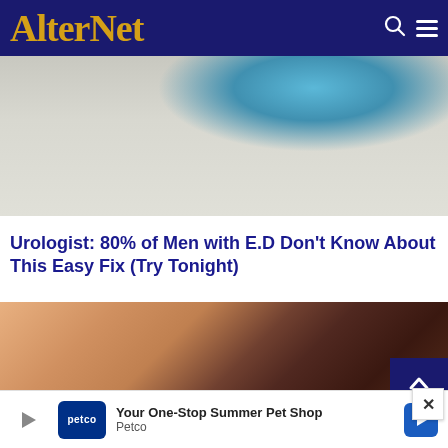AlterNet
[Figure (photo): Close-up photo of a blue object on a light textured surface, top portion of an article thumbnail image]
Urologist: 80% of Men with E.D Don't Know About This Easy Fix (Try Tonight)
[Figure (photo): Close-up photo of a hand holding two dark brown walnut-like objects, article thumbnail image]
[Figure (other): Advertisement banner: Petco - Your One-Stop Summer Pet Shop]